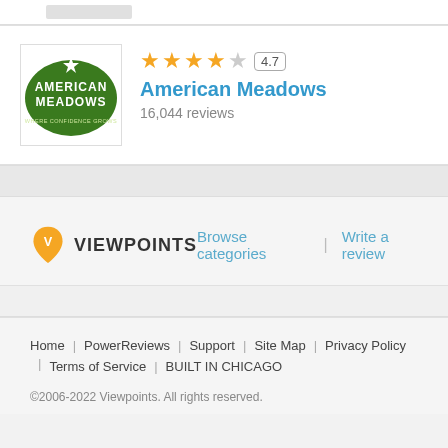[Figure (logo): American Meadows logo - green oval with white text and star, tagline WHERE CONFIDENCE GROWS]
American Meadows
4.7 stars — 16,044 reviews
[Figure (logo): Viewpoints logo — orange map pin icon with V, text VIEWPOINTS]
Browse categories | Write a review
Home | PowerReviews | Support | Site Map | Privacy Policy | Terms of Service | BUILT IN CHICAGO
©2006-2022 Viewpoints. All rights reserved.